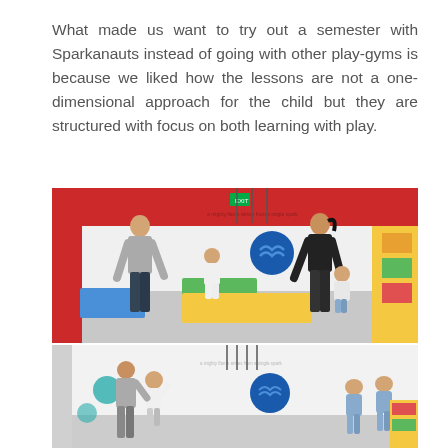What made us want to try out a semester with Sparkanauts instead of going with other play-gyms is because we liked how the lessons are not a one-dimensional approach for the child but they are structured with focus on both learning with play.
[Figure (photo): Photo of adults helping a small child in a colorful gym/play studio with foam mats in blue, yellow, and green, red and white walls with decorations.]
[Figure (photo): Second photo of children and adults in the same colorful play gym studio, with teal circle decorations on white walls.]